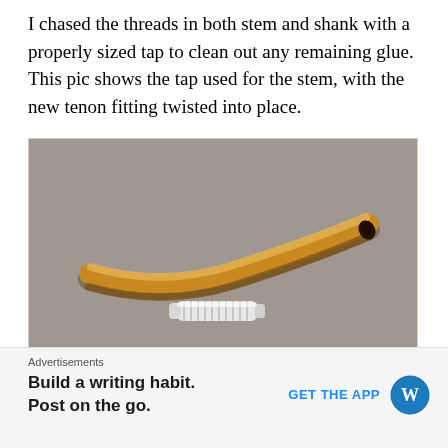I chased the threads in both stem and shank with a properly sized tap to clean out any remaining glue. This pic shows the tap used for the stem, with the new tenon fitting twisted into place.
[Figure (photo): A curved amber/yellow pipe stem and a small white threaded tenon fitting photographed on a gray carpet background.]
[Figure (photo): Partial view of a second photo, gray carpet background visible.]
Advertisements
Build a writing habit. Post on the go.
GET THE APP